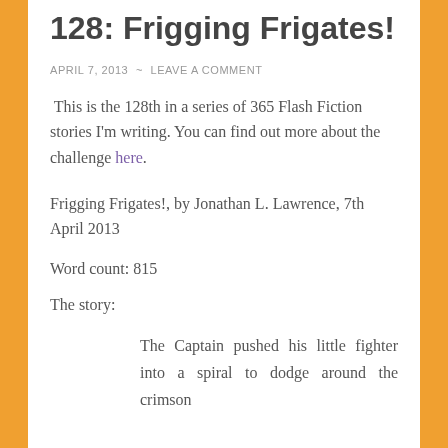128: Frigging Frigates!
APRIL 7, 2013  ~  LEAVE A COMMENT
This is the 128th in a series of 365 Flash Fiction stories I'm writing. You can find out more about the challenge here.
Frigging Frigates!, by Jonathan L. Lawrence, 7th April 2013
Word count: 815
The story:
The Captain pushed his little fighter into a spiral to dodge around the crimson